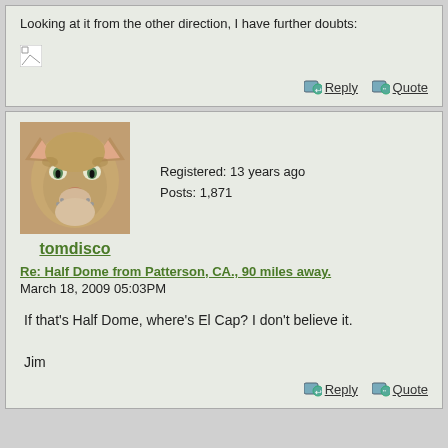Looking at it from the other direction, I have further doubts:
[Figure (other): Broken/missing image placeholder]
Reply  Quote
[Figure (photo): Avatar photo of a mountain lion (cougar), user tomdisco]
tomdisco
Registered: 13 years ago
Posts: 1,871
Re: Half Dome from Patterson, CA., 90 miles away.
March 18, 2009 05:03PM
If that's Half Dome, where's El Cap? I don't believe it.

Jim
Reply  Quote